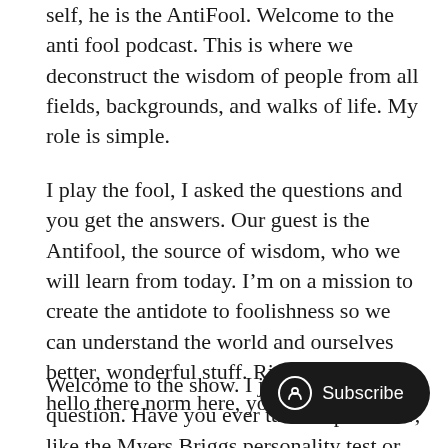self, he is the AntiFool. Welcome to the anti fool podcast. This is where we deconstruct the wisdom of people from all fields, backgrounds, and walks of life. My role is simple.
I play the fool, I asked the questions and you get the answers. Our guest is the Antifool, the source of wisdom, who we will learn from today. I’m on a mission to create the antidote to foolishness so we can understand the world and ourselves better, wonderful stuff. Right. So shall we hello there norm here, your favorite fool.
Welcome to the show. I just want to a question. Have you ever taken a per know, like the Myers Briggs personality test or the
[Figure (other): Subscribe button overlay: dark rounded pill button with a circle icon and the text 'Subscribe']